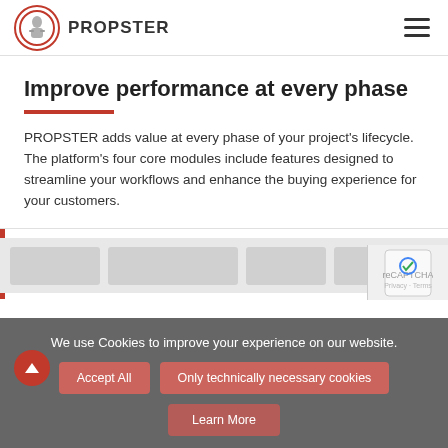PROPSTER
Improve performance at every phase
PROPSTER adds value at every phase of your project's lifecycle. The platform's four core modules include features designed to streamline your workflows and enhance the buying experience for your customers.
Enhance Sales
We use Cookies to improve your experience on our website.
Accept All | Only technically necessary cookies | Learn More